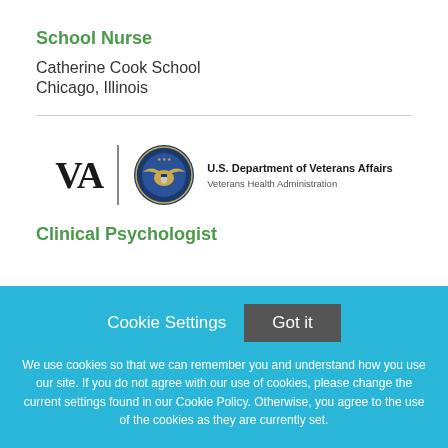School Nurse
Catherine Cook School
Chicago, Illinois
[Figure (logo): U.S. Department of Veterans Affairs / Veterans Health Administration logo with VA text, seal, and department name]
Clinical Psychologist
Cookie Settings  Got it
We use cookies so that we can remember you and understand how you use our site. If you do not agree with our use of cookies, please change the current settings found in our Cookie Policy. Otherwise, you agree to the use of the cookies as they are currently set.